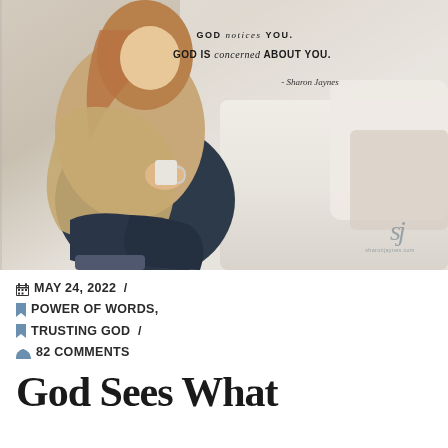[Figure (photo): A woman with long reddish hair sitting on a white couch, wearing a tan cardigan and blue jeans, holding a mug. Overlaid text reads: 'GOD notices YOU. GOD IS concerned ABOUT YOU. - Sharon Jaynes' with a watermark 'sj' and 'sharonjaynes.com' in the bottom right.]
MAY 24, 2022 / POWER OF WORDS, TRUSTING GOD / 82 COMMENTS
God Sees What